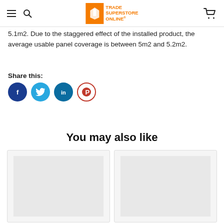Trade Superstore Online
5.1m2. Due to the staggered effect of the installed product, the average usable panel coverage is between 5m2 and 5.2m2.
Share this:
[Figure (illustration): Social media share icons: Facebook (dark blue circle), Twitter (light blue circle), LinkedIn (dark blue/teal circle), Pinterest (red-outlined circle)]
You may also like
[Figure (photo): Product card placeholder image (light gray)]
[Figure (photo): Product card placeholder image (light gray)]